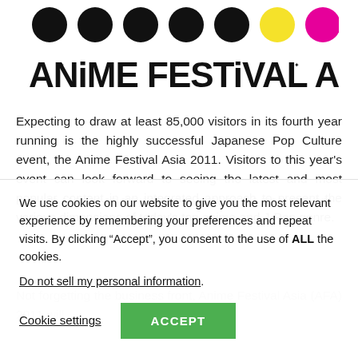[Figure (logo): Anime Festival Asia logo with circular character icons and bold text 'ANiME FESTiVAL ASiA']
Expecting to draw at least 85,000 visitors in its fourth year running is the highly successful Japanese Pop Culture event, the Anime Festival Asia 2011. Visitors to this year's event can look forward to seeing the latest and most popular content in an integrated approach to present the various dimensions of today's top anime and J-Pop genre.
Not forgetting the business front, Anime Festival Asia (AFA) 2011 will
We use cookies on our website to give you the most relevant experience by remembering your preferences and repeat visits. By clicking “Accept”, you consent to the use of ALL the cookies.
Do not sell my personal information.
Cookie settings
ACCEPT